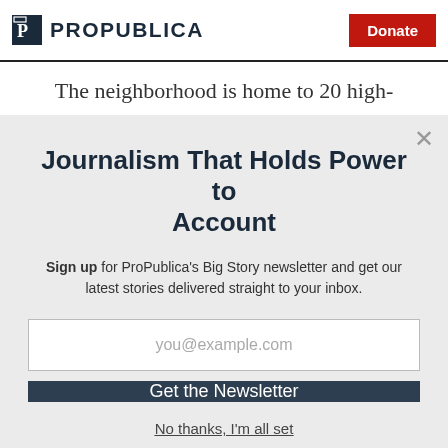ProPublica | Donate
The neighborhood is home to 20 high-
Journalism That Holds Power to Account
Sign up for ProPublica's Big Story newsletter and get our latest stories delivered straight to your inbox.
you@example.com
Get the Newsletter
No thanks, I'm all set
This site is protected by reCAPTCHA and the Google Privacy Policy and Terms of Service apply.